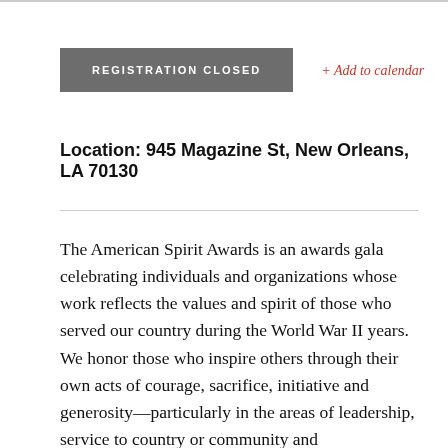REGISTRATION CLOSED
+ Add to calendar
Location: 945 Magazine St, New Orleans, LA 70130
The American Spirit Awards is an awards gala celebrating individuals and organizations whose work reflects the values and spirit of those who served our country during the World War II years. We honor those who inspire others through their own acts of courage, sacrifice, initiative and generosity—particularly in the areas of leadership, service to country or community and